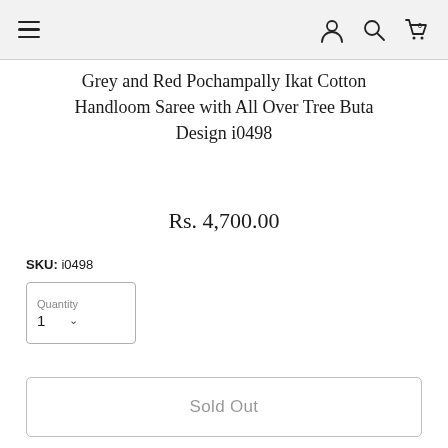Navigation bar with hamburger menu, user icon, search icon, and cart icon (0 items)
Grey and Red Pochampally Ikat Cotton Handloom Saree with All Over Tree Buta Design i0498
Rs. 4,700.00
SKU: i0498
Quantity 1
Sold Out